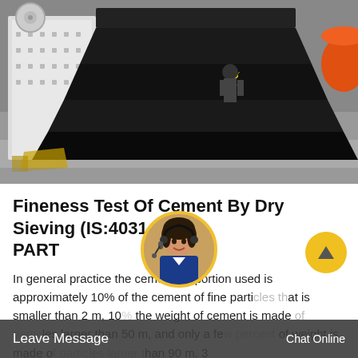[Figure (photo): Industrial machinery photo showing large black and white vibratory screen/sieve equipment in a factory/workshop setting. A worker is visible in the background, and there is an orange cylindrical object on the right side.]
Fineness Test Of Cement By Dry Sieving (IS:4031-PART
In general practice the cement proportion used is approximately 10% of the cement of fine particles that is smaller than 2 m, 10% the weight of cement is made of particles larger than 50 m, and only a few percent of weight is made of particles larger than 90 m. 3
Leave Message
Chat Online